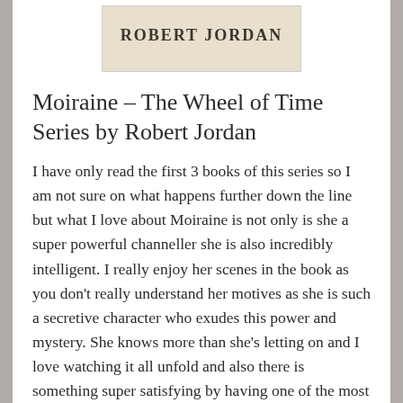[Figure (illustration): Book cover image showing 'ROBERT JORDAN' text on a parchment-style background]
Moiraine – The Wheel of Time Series by Robert Jordan
I have only read the first 3 books of this series so I am not sure on what happens further down the line but what I love about Moiraine is not only is she a super powerful channeller she is also incredibly intelligent. I really enjoy her scenes in the book as you don't really understand her motives as she is such a secretive character who exudes this power and mystery. She knows more than she's letting on and I love watching it all unfold and also there is something super satisfying by having one of the most